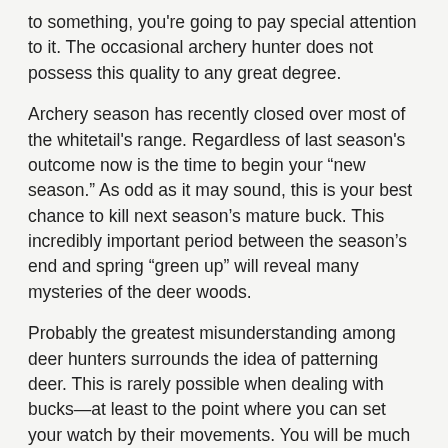to something, you're going to pay special attention to it. The occasional archery hunter does not possess this quality to any great degree.
Archery season has recently closed over most of the whitetail's range. Regardless of last season's outcome now is the time to begin your “new season.” As odd as it may sound, this is your best chance to kill next season's mature buck. This incredibly important period between the season’s end and spring “green up” will reveal many mysteries of the deer woods.
Probably the greatest misunderstanding among deer hunters surrounds the idea of patterning deer. This is rarely possible when dealing with bucks—at least to the point where you can set your watch by their movements. You will be much better served if you concentrate your efforts on patterning buck behaviors and tendencies within your hunting area. These will often remain consistent from season to season. This will give you the vision to interpret the big picture and allow you to foresee any changes before they transpire.
It will do you little good to chase the “hot” sign around your hunting area once the season begins. Events and food